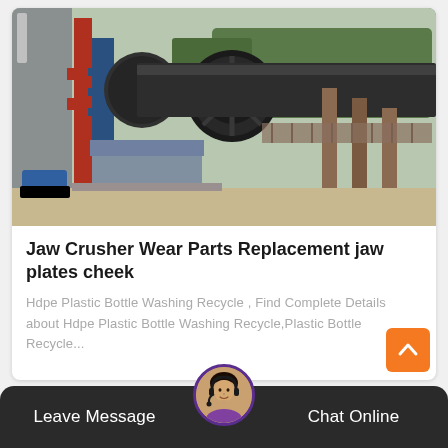[Figure (photo): Industrial rotary kiln or large cylindrical pipe/drum mounted on support structures at a manufacturing or cement plant facility. Red and blue structural frames visible on the left, large dark cylindrical tube extending diagonally, support pedestals and machinery in background, trees visible in far background.]
Jaw Crusher Wear Parts Replacement jaw plates cheek
Hdpe Plastic Bottle Washing Recycle , Find Complete Details about Hdpe Plastic Bottle Washing Recycle,Plastic Bottle Recycle...
[Figure (illustration): Orange square button with white upward-pointing chevron arrow (scroll to top button)]
Leave Message  Chat Online